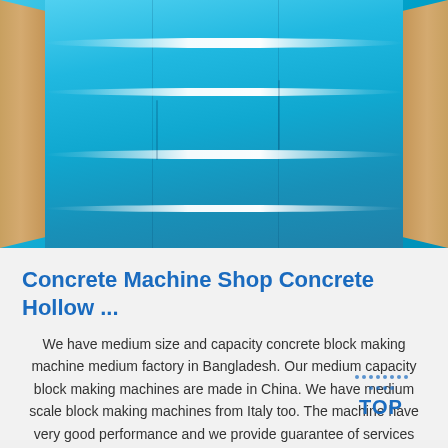[Figure (photo): Photo of blue metallic/aluminum sheets or panels stacked in cardboard packaging, viewed from above at an angle. The sheets have a vivid cyan/turquoise blue color with bright white reflective highlight stripes running diagonally across the surface.]
Concrete Machine Shop Concrete Hollow ...
We have medium size and capacity concrete block making machine medium factory in Bangladesh. Our medium capacity block making machines are made in China. We have medium scale block making machines from Italy too. The machine have very good performance and we provide guarantee of services with all of our cement hollow block machines.